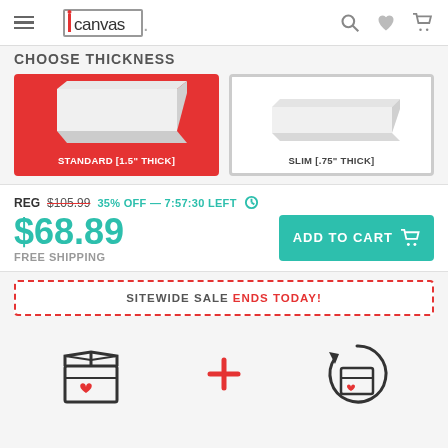iCanvas — navigation header with logo, search, wishlist, and cart icons
CHOOSE THICKNESS
[Figure (illustration): Two canvas thickness options: STANDARD [1.5" THICK] selected with red background, and SLIM [.75" THICK] unselected]
REG $105.99  35% OFF — 7:57:30 LEFT
$68.89
FREE SHIPPING
ADD TO CART
SITEWIDE SALE ENDS TODAY!
[Figure (illustration): Three icons at bottom: shipping box with heart, plus sign, and returns box with heart]